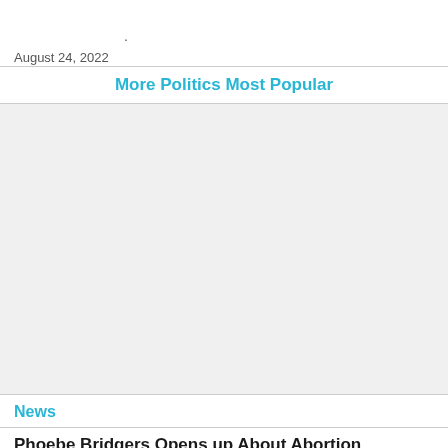August 24, 2022
More Politics Most Popular
[Figure (other): Advertisement / placeholder gray box]
News
Phoebe Bridgers Opens up About Abortion